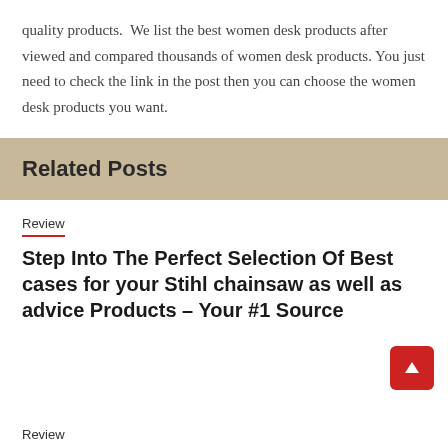quality products. We list the best women desk products after viewed and compared thousands of women desk products. You just need to check the link in the post then you can choose the women desk products you want.
Related Posts
Review
Step Into The Perfect Selection Of Best cases for your Stihl chainsaw as well as advice Products – Your #1 Source
Review